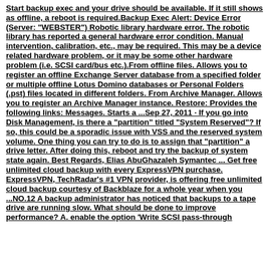Start backup exec and your drive should be available. If it still shows as offline, a reboot is required.Backup Exec Alert: Device Error (Server: "WEBSTER") Robotic library hardware error. The robotic library has reported a general hardware error condition. Manual intervention, calibration, etc., may be required. This may be a device related hardware problem, or it may be some other hardware problem (i.e. SCSI card/bus etc.).From offline files. Allows you to register an offline Exchange Server database from a specified folder or multiple offline Lotus Domino databases or Personal Folders (.pst) files located in different folders. From Archive Manager. Allows you to register an Archive Manager instance. Restore: Provides the following links: Messages. Starts a ...Sep 27, 2011 · If you go into Disk Management, is there a "partition" titled "System Reserved"? If so, this could be a sporadic issue with VSS and the reserved system volume. One thing you can try to do is to assign that "partition" a drive letter. After doing this, reboot and try the backup of system state again. Best Regards, Elias AbuGhazaleh Symantec ... Get free unlimited cloud backup with every ExpressVPN purchase. ExpressVPN, TechRadar's #1 VPN provider, is offering free unlimited cloud backup courtesy of Backblaze for a whole year when you ...NO.12 A backup administrator has noticed that backups to a tape drive are running slow. What should be done to improve performance? A. enable the option 'Write SCSI pass-through